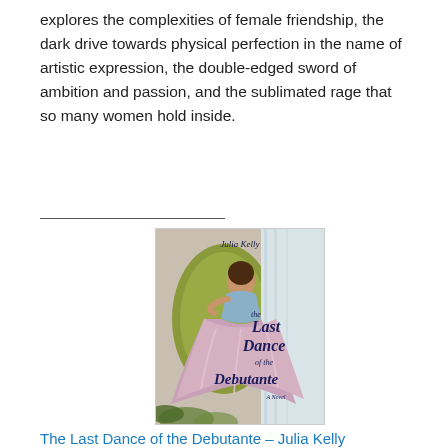explores the complexities of female friendship, the dark drive towards physical perfection in the name of artistic expression, the double-edged sword of ambition and passion, and the sublimated rage that so many women hold inside.
[Figure (illustration): Book cover of 'The Last Dance of the Debutante' by Julia Kelly. Shows a woman in a blue ball gown reclining on a green velvet chair. The title text is in decorative script.]
The Last Dance of the Debutante – Julia Kelly